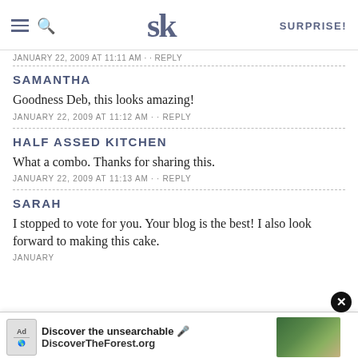SK SURPRISE!
JANUARY 22, 2009 AT 11:11 AM · · REPLY
SAMANTHA
Goodness Deb, this looks amazing!
JANUARY 22, 2009 AT 11:12 AM · · REPLY
HALF ASSED KITCHEN
What a combo. Thanks for sharing this.
JANUARY 22, 2009 AT 11:13 AM · · REPLY
SARAH
I stopped to vote for you. Your blog is the best! I also look forward to making this cake.
JANUARY ...
[Figure (screenshot): Ad banner: Discover the unsearchable / DiscoverTheForest.org with forest photo]